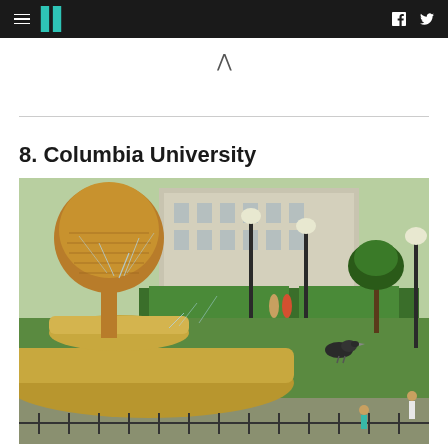HuffPost navigation with hamburger menu, logo, Facebook and Twitter icons
8. Columbia University
[Figure (photo): Outdoor photo of a decorative stone fountain at Columbia University campus, with a bird perched on the fountain basin. In the background are green hedges, lamp posts, trees, and people walking on campus grounds.]